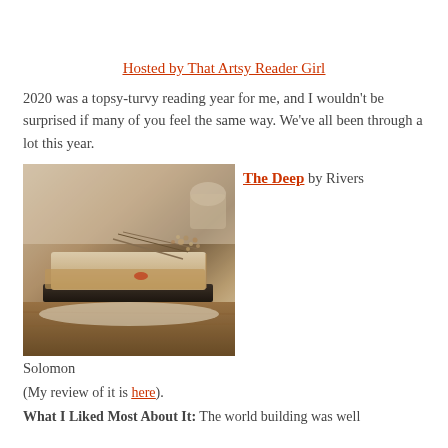Hosted by That Artsy Reader Girl
2020 was a topsy-turvy reading year for me, and I wouldn't be surprised if many of you feel the same way. We've all been through a lot this year.
[Figure (photo): Photo of stacked books with dried flowers on top, warm toned, sitting on a wooden surface]
The Deep by Rivers Solomon
(My review of it is here).
What I Liked Most About It: The world building was well